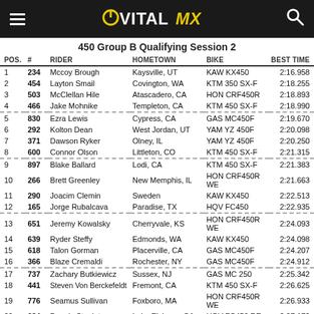VITAL MX
450 Group B Qualifying Session 2
| POS. | # | RIDER | HOMETOWN | BIKE | BEST TIME |
| --- | --- | --- | --- | --- | --- |
| 1 | 234 | Mccoy Brough | Kaysville, UT | KAW KX450 | 2:16.958 |
| 2 | 454 | Layton Smail | Covington, WA | KTM 350 SX-F | 2:18.255 |
| 3 | 503 | McClellan Hile | Atascadero, CA | HON CRF450R | 2:18.893 |
| 4 | 466 | Jake Mohnike | Templeton, CA | KTM 450 SX-F | 2:18.990 |
| 5 | 830 | Ezra Lewis | Cypress, CA | GAS MC450F | 2:19.670 |
| 6 | 292 | Kolton Dean | West Jordan, UT | YAM YZ 450F | 2:20.098 |
| 7 | 371 | Dawson Ryker | Olney, IL | YAM YZ 450F | 2:20.250 |
| 8 | 600 | Connor Olson | Littleton, CO | KTM 450 SX-F | 2:21.315 |
| 9 | 897 | Blake Ballard | Lodi, CA | KTM 450 SX-F | 2:21.383 |
| 10 | 266 | Brett Greenley | New Memphis, IL | HON CRF450R WE | 2:21.663 |
| 11 | 290 | Joacim Clemin | Sweden | KAW KX450 | 2:22.513 |
| 12 | 165 | Jorge Rubalcava | Paradise, TX | HQV FC450 | 2:22.935 |
| 13 | 651 | Jeremy Kowalsky | Cherryvale, KS | HON CRF450R WE | 2:24.093 |
| 14 | 639 | Ryder Steffy | Edmonds, WA | KAW KX450 | 2:24.098 |
| 15 | 618 | Talon Gorman | Placerville, CA | GAS MC450F | 2:24.207 |
| 16 | 366 | Blaze Cremaldi | Rochester, NY | GAS MC450F | 2:24.912 |
| 17 | 737 | Zachary Butkiewicz | Sussex, NJ | GAS MC 250 | 2:25.342 |
| 18 | 441 | Steven Von Berckefeldt | Fremont, CA | KTM 450 SX-F | 2:26.625 |
| 19 | 776 | Seamus Sullivan | Foxboro, MA | HON CRF450R WE | 2:26.933 |
| 20 | 284 | Dennis Stapleton | Lake Elsinore, CA | HQV FC450 RE | 2:27.172 |
| 21 | 816 | Justin Muscutt | Modesto, CA | HQV FC450 | 2:27.428 |
| 22 | 450 | Brad Burkhart | Elk Grove, CA | YAM YZ 450F | 2:27.859 |
| 23 | 700 | Kyle Krell | Ravena, NY | GAS MC450F | 2:27.978 |
| 24 | 472 | Rory Sullivan | White Salmon, WA | KAW KX450 | 2:28.057 |
| 25 | 458 | Brent Burkhart | Elk Grove, CA | KAW KX450 | 2:28.464 |